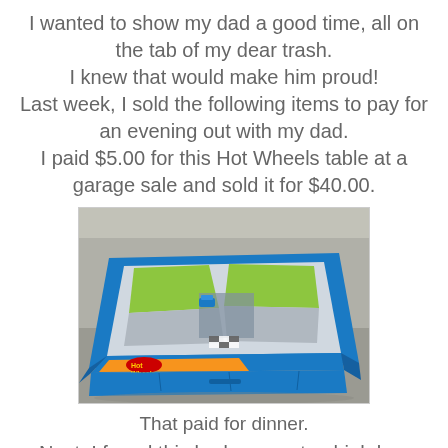I wanted to show my dad a good time, all on the tab of my dear trash. I knew that would make him proud! Last week, I sold the following items to pay for an evening out with my dad. I paid $5.00 for this Hot Wheels table at a garage sale and sold it for $40.00.
[Figure (photo): A Hot Wheels branded blue play table with a car track play surface, photographed outdoors on a concrete surface.]
That paid for dinner.
Next, I found this bedroom set; a high boy dresser